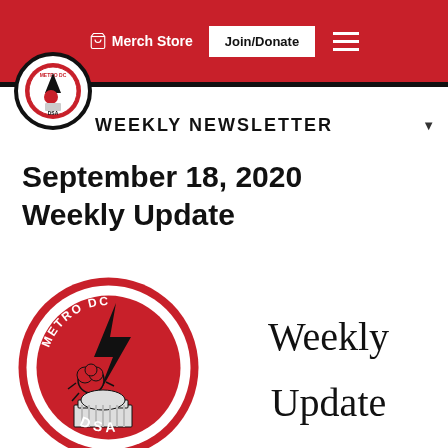Merch Store | Join/Donate
WEEKLY NEWSLETTER
September 18, 2020 Weekly Update
[Figure (logo): Metro DC DSA circular logo with lightning bolt and rose above capitol building dome]
Weekly
Update